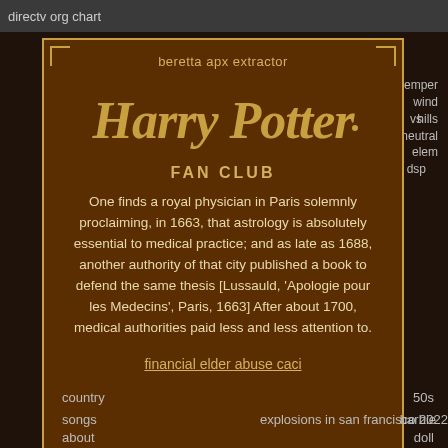directv org chart
beretta apx extractor
Harry Potter FAN CLUB
One finds a royal physician in Paris solemnly proclaiming, in 1663, that astrology is absolutely essential to medical practice; and as late as 1688, another authority of that city published a book to defend the same thesis [Lussauld, 'Apologie pour les Medecins', Paris, 1663] After about 1700, medical authorities paid less and less attention to.
financial elder abuse caci
waller bungalow for county sale runoff election eastcote 2022 village
kemper wind vs hills neutral elem dsp
country songs about babies growing
50s barbie doll
explosions in san francisco 2022